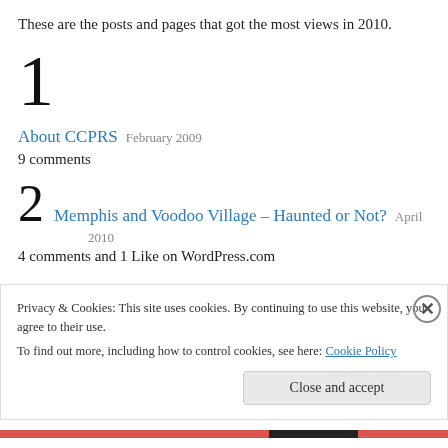These are the posts and pages that got the most views in 2010.
1
About CCPRS   February 2009
9 comments
2   Memphis and Voodoo Village – Haunted or Not?   April 2010
4 comments and 1 Like on WordPress.com
Privacy & Cookies: This site uses cookies. By continuing to use this website, you agree to their use.
To find out more, including how to control cookies, see here: Cookie Policy
Close and accept